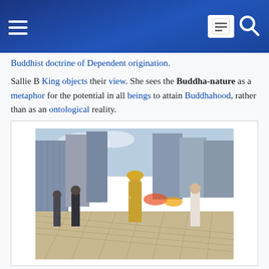[Wikipedia mobile header with hamburger menu and search icon]
Buddhist doctrine of Dependent origination.
Sallie B King objects their view. She sees the Buddha-nature as a metaphor for the potential in all beings to attain Buddhahood, rather than as an ontological reality.
[Figure (photo): Photo of people walking in an urban plaza with tall skyscrapers in the background, a person in a yellow robe/dress visible in the center.]
This view of the Buddha-nature as non-Buddhist is termed Critical Buddhism.
Paul Williams has criticized this view, saying that Critical Buddhism is too narrow in its definition of what constitutes Buddhism. According to Williams,
We should abandon any simplistic identification of Buddhism with a straightforward Buddhist definition...